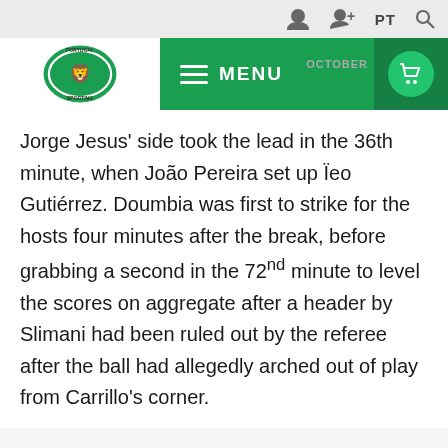Sporting CP website header with logo and MENU navigation
Jorge Jesus' side took the lead in the 36th minute, when João Pereira set up Ïeo Gutiérrez. Doumbia was first to strike for the hosts four minutes after the break, before grabbing a second in the 72nd minute to level the scores on aggregate after a header by Slimani had been ruled out by the referee after the ball had allegedly arched out of play from Carrillo's corner.